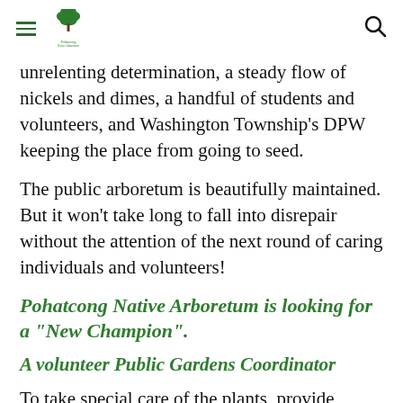[Hamburger menu icon] [Pohatcong Echo Arboretum logo] [Search icon]
unrelenting determination, a steady flow of nickels and dimes, a handful of students and volunteers, and Washington Township's DPW keeping the place from going to seed.
The public arboretum is beautifully maintained. But it won't take long to fall into disrepair without the attention of the next round of caring individuals and volunteers!
Pohatcong Native Arboretum is looking for a "New Champion".
A volunteer Public Gardens Coordinator
To take special care of the plants, provide leadership, build a team of other volunteers